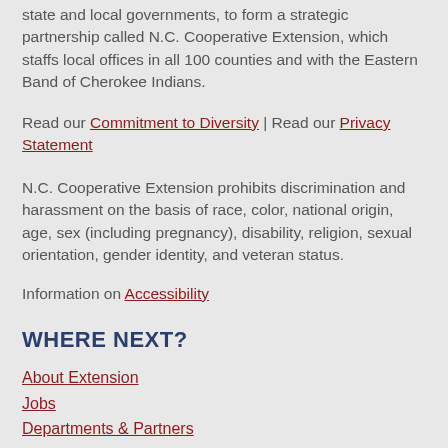state and local governments, to form a strategic partnership called N.C. Cooperative Extension, which staffs local offices in all 100 counties and with the Eastern Band of Cherokee Indians.
Read our Commitment to Diversity | Read our Privacy Statement
N.C. Cooperative Extension prohibits discrimination and harassment on the basis of race, color, national origin, age, sex (including pregnancy), disability, religion, sexual orientation, gender identity, and veteran status.
Information on Accessibility
WHERE NEXT?
About Extension
Jobs
Departments & Partners
College of Agriculture & Life Sciences